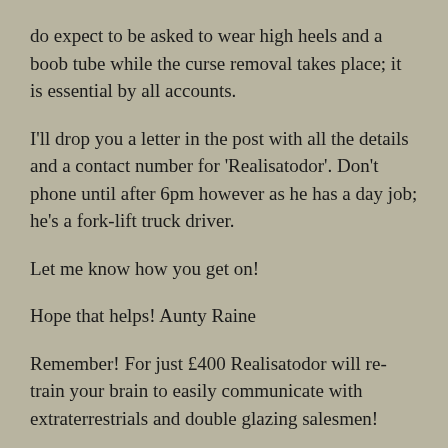do expect to be asked to wear high heels and a boob tube while the curse removal takes place; it is essential by all accounts.
I'll drop you a letter in the post with all the details and a contact number for 'Realisatodor'. Don't phone until after 6pm however as he has a day job; he's a fork-lift truck driver.
Let me know how you get on!
Hope that helps! Aunty Raine
Remember! For just £400 Realisatodor will re-train your brain to easily communicate with extraterrestrials and double glazing salesmen!